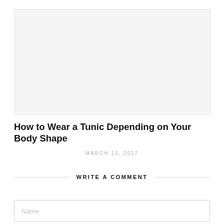[Figure (photo): Large image placeholder at the top of the blog post page]
How to Wear a Tunic Depending on Your Body Shape
MARCH 10, 2017
WRITE A COMMENT
Name